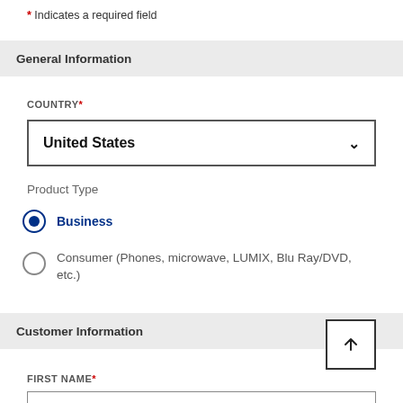* Indicates a required field
General Information
COUNTRY*
United States
Product Type
Business
Consumer (Phones, microwave, LUMIX, Blu Ray/DVD, etc.)
Customer Information
FIRST NAME*